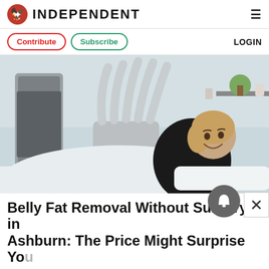INDEPENDENT
Contribute  Subscribe  LOGIN
[Figure (photo): Woman lying on a treatment bed smiling, with a medical body contouring machine with multiple hose applicators positioned over her torso in a clinic setting.]
Belly Fat Removal Without Surgery in Ashburn: The Price Might Surprise You